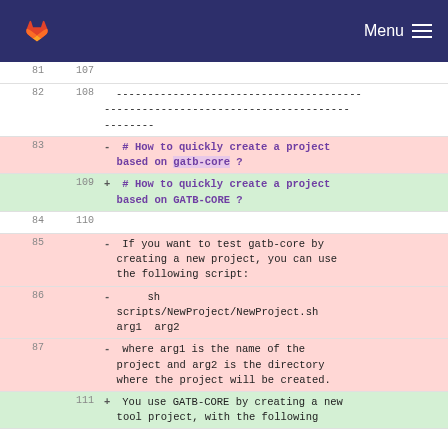GitLab — Menu
81  107
82  108  -----------------------------------------------
         -----------------------------------------------
         --------
83       - # How to quickly create a project based on gatb-core ?
    109  + # How to quickly create a project based on GATB-CORE ?
84  110
85       - If you want to test gatb-core by creating a new project, you can use the following script:
86       -     sh scripts/NewProject/NewProject.sh arg1  arg2
87       - where arg1 is the name of the project and arg2 is the directory where the project will be created.
    111  + You use GATB-CORE by creating a new tool project, with the following